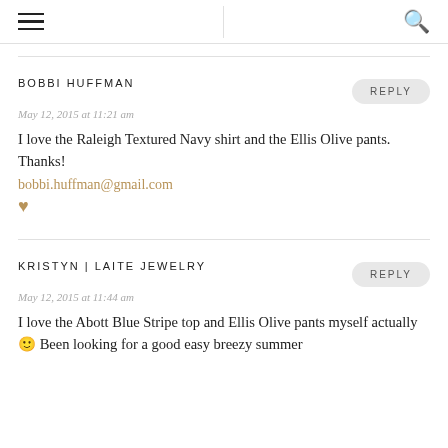≡  Q
BOBBI HUFFMAN
May 12, 2015 at 11:21 am
I love the Raleigh Textured Navy shirt and the Ellis Olive pants. Thanks!
bobbi.huffman@gmail.com
♥
KRISTYN | LAITE JEWELRY
May 12, 2015 at 11:44 am
I love the Abott Blue Stripe top and Ellis Olive pants myself actually 🙂 Been looking for a good easy breezy summer